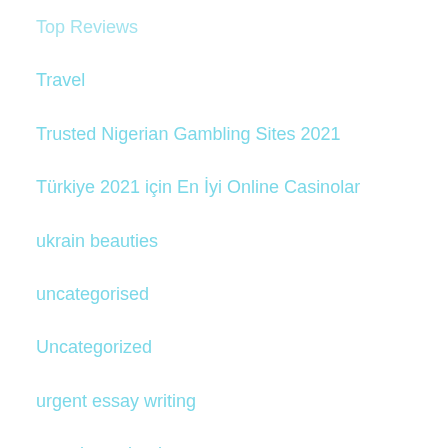Top Reviews
Travel
Trusted Nigerian Gambling Sites 2021
Türkiye 2021 için En İyi Online Casinolar
ukrain beauties
uncategorised
Uncategorized
urgent essay writing
vavada-casino-kz.com
Video
vivaro
Vulkan Vegas
Vulkan Vegas Casino
Windows Drivers